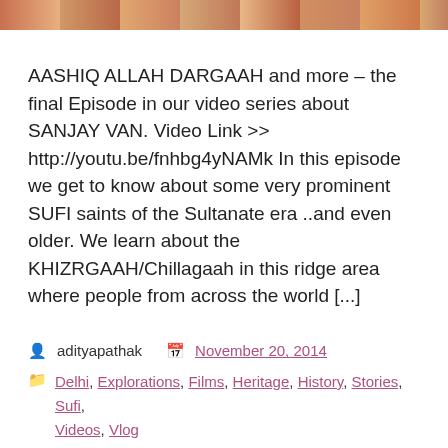[Figure (photo): Horizontal image strip at the top showing partial photographs with warm reddish-brown tones]
AASHIQ ALLAH DARGAAH and more – the final Episode in our video series about SANJAY VAN. Video Link >> http://youtu.be/fnhbg4yNAMk In this episode we get to know about some very prominent SUFI saints of the Sultanate era ..and even older. We learn about the KHIZRGAAH/Chillagaah in this ridge area where people from across the world [...]
adityapathak   November 20, 2014
Delhi, Explorations, Films, Heritage, History, Stories, Sufi, Videos, Vlog
aashiq allah dargaah, aditya pathak, aditya sharma, alms, arunima pathak, ashiq allah, asif khan dehlvi, baba farid, bakhtiar kaki, blogging, charity, chilla-e-mazkoos, chillagaah